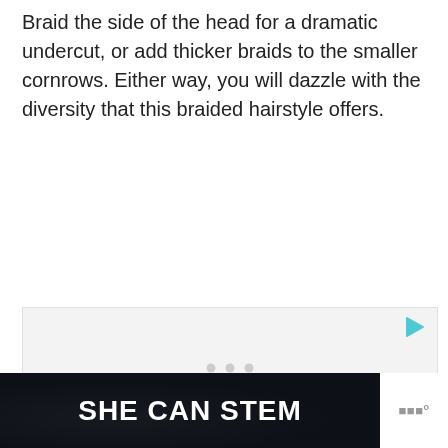Braid the side of the head for a dramatic undercut, or add thicker braids to the smaller cornrows. Either way, you will dazzle with the diversity that this braided hairstyle offers.
[Figure (other): Advertisement placeholder box with a teal play button icon in the top-right corner and three gray dots in the center indicating loading content.]
[Figure (other): Advertisement banner with dark navy/black background showing 'SHE CAN STEM' in bold white uppercase text, with a gray logo on the right side.]